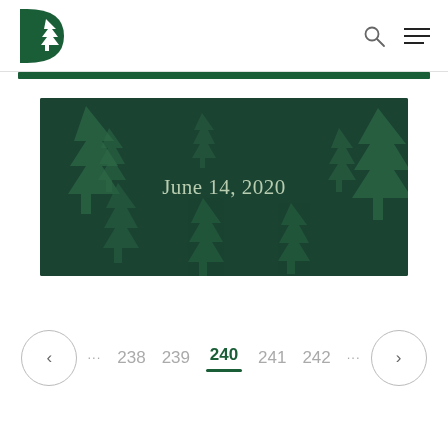Dartmouth D logo, search icon, hamburger menu
[Figure (illustration): Dark green banner with decorative pine tree silhouettes and the text 'June 14, 2020' centered in pale green serif font]
238  239  240  241  242  (pagination controls with prev/next arrows and ellipses, current page 240)